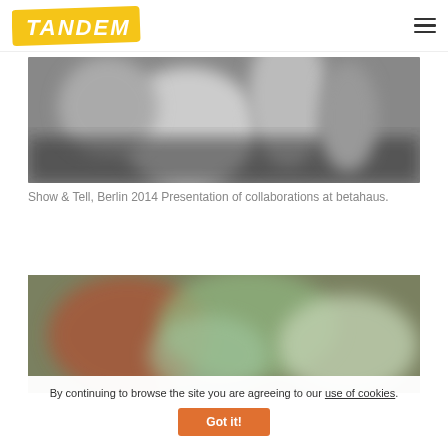TANDEM [logo] | hamburger menu
[Figure (photo): Blurred black and white photograph of people at a presentation event, likely Show and Tell Berlin 2014 at betahaus]
Show & Tell, Berlin 2014 Presentation of collaborations at betahaus.
[Figure (photo): Blurred color photograph, partially visible, showing people or objects with green and warm tones]
By continuing to browse the site you are agreeing to our use of cookies.
Got it!